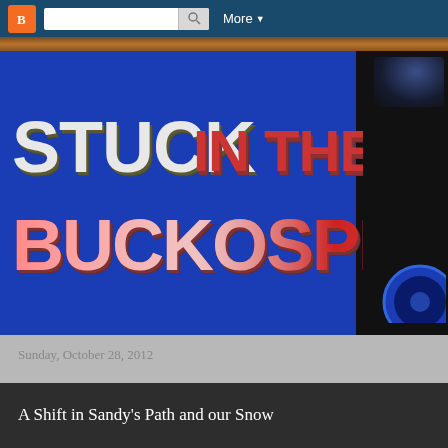Blogger navbar with logo, search, and More
[Figure (photo): Blog header banner image showing 3D text 'STUCK IN THE BUCKOSPHERE' in white and red letters on a blue background, with a dark panel and blue dial visible on the right side, and a cork strip at the top.]
Sunday, October 28, 2012
A Shift in Sandy's Path and our Snow